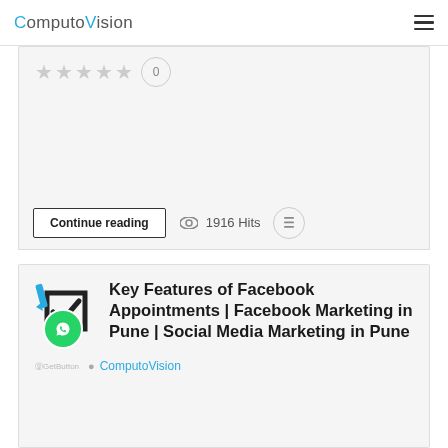ComputoVision
[Figure (other): Star rating row with 5 gray stars and 0 rating bubble, part of a partially visible article card]
Continue reading  1916 Hits
Key Features of Facebook Appointments | Facebook Marketing in Pune | Social Media Marketing in Pune
ComputoVision